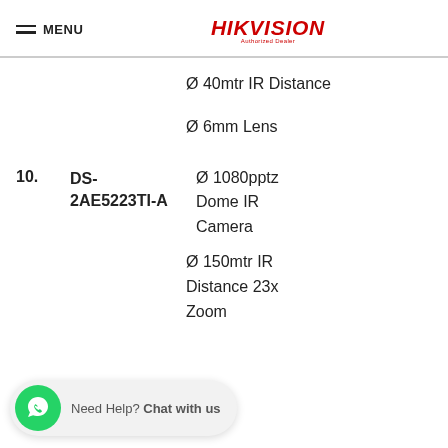MENU | HIKVISION Authorized Dealer
Ø 40mtr IR Distance
Ø 6mm Lens
10. DS-2AE5223TI-A — Ø 1080pptz Dome IR Camera
Ø 150mtr IR Distance 23x Zoom